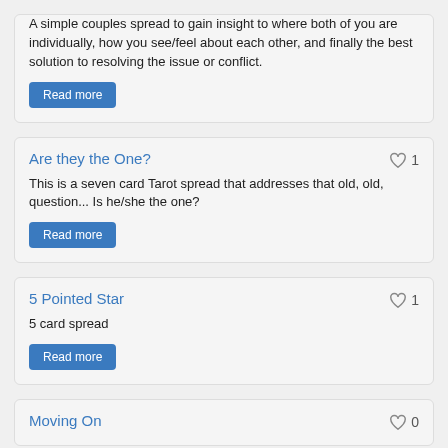A simple couples spread to gain insight to where both of you are individually, how you see/feel about each other, and finally the best solution to resolving the issue or conflict.
Read more
Are they the One?
This is a seven card Tarot spread that addresses that old, old, question... Is he/she the one?
Read more
5 Pointed Star
5 card spread
Read more
Moving On